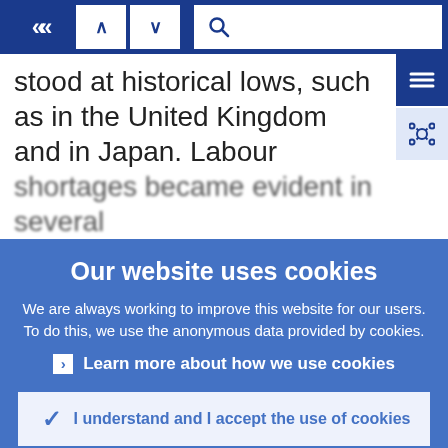[Figure (screenshot): Website toolbar with back chevron button, up/down navigation arrows, and a search bar]
stood at historical lows, such as in the United Kingdom and in Japan. Labour shortages became evident in several
[Figure (screenshot): Cookie consent overlay with title 'Our website uses cookies', descriptive text, learn more link, accept and reject buttons]
Our website uses cookies
We are always working to improve this website for our users. To do this, we use the anonymous data provided by cookies.
Learn more about how we use cookies
I understand and I accept the use of cookies
I do not accept the use of cookies